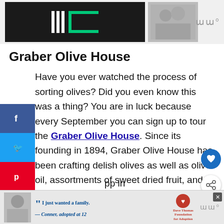[Figure (photo): Top banner advertisement with dark background showing a logo with vertical bars and E-shape in green, alongside a photo of people, with 'w°' branding on the right]
Graber Olive House
Have you ever watched the process of sorting olives? Did you even know this was a thing? You are in luck because every September you can sign up to tour the Graber Olive House. Since its founding in 1894, Graber Olive House has been crafting delish olives as well as olive oil, assortments of sweet dried fruit, and nuts. This is also a popular and picturesque location for
[Figure (photo): Bottom advertisement: 'I just wanted a family. — Conner, adopted at 12' with Dave Thomas Foundation for Adoption logo]